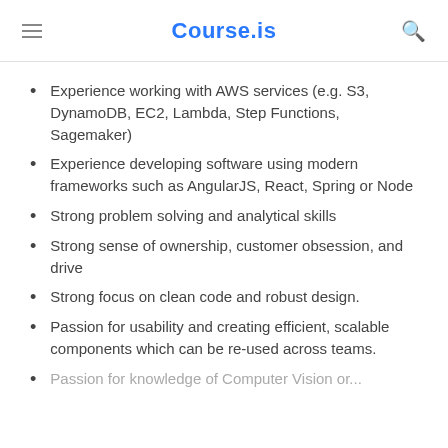Course.is
Experience working with AWS services (e.g. S3, DynamoDB, EC2, Lambda, Step Functions, Sagemaker)
Experience developing software using modern frameworks such as AngularJS, React, Spring or Node
Strong problem solving and analytical skills
Strong sense of ownership, customer obsession, and drive
Strong focus on clean code and robust design.
Passion for usability and creating efficient, scalable components which can be re-used across teams.
Passion for knowledge of Computer Vision or...